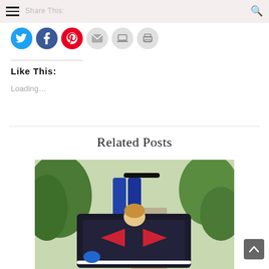Share This:
[Figure (other): Social sharing icons: Twitter (blue bird), Facebook (blue), Pinterest (red), email, laptop/Pocket, print]
Like This:
Loading...
Related Posts
[Figure (photo): A person pulling a bicycle trailer/cargo bag on a path outdoors, with green foliage in background. The bag has red markings and a child or cargo inside.]